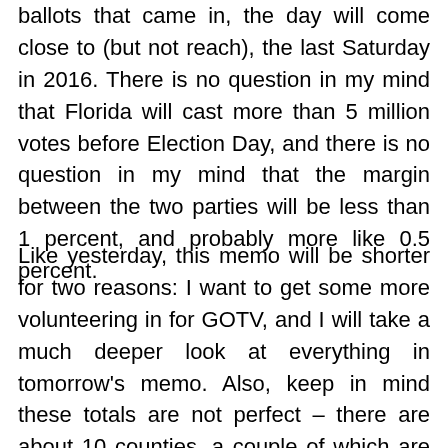ballots that came in, the day will come close to (but not reach), the last Saturday in 2016. There is no question in my mind that Florida will cast more than 5 million votes before Election Day, and there is no question in my mind that the margin between the two parties will be less than 1 percent, and probably more like 0.5 percent.
Like yesterday, this memo will be shorter for two reasons: I want to get some more volunteering in for GOTV, and I will take a much deeper look at everything in tomorrow's memo. Also, keep in mind these totals are not perfect – there are about 10 counties, a couple of which are mid-sized, that did not report at 7:30 a.m.